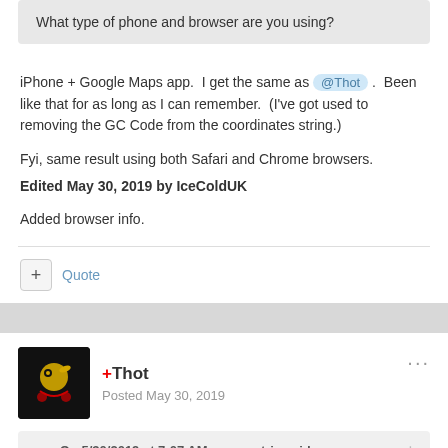What type of phone and browser are you using?
iPhone + Google Maps app.  I get the same as @Thot .  Been like that for as long as I can remember.  (I've got used to removing the GC Code from the coordinates string.)
Fyi, same result using both Safari and Chrome browsers.
Edited May 30, 2019 by IceColdUK
Added browser info.
+ Quote
+Thot
Posted May 30, 2019
On 5/30/2019 at 7:07 AM, noncentric said: